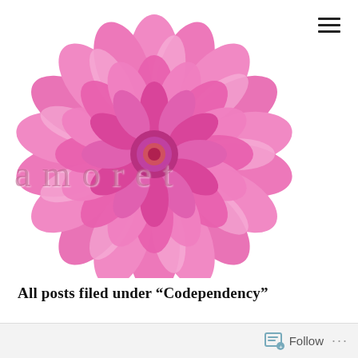[Figure (photo): Large pink dahlia flower on white background with the blog title 'amoret' overlaid in light pink serif text with wide letter spacing]
All posts filed under “Codependency”
Follow ...